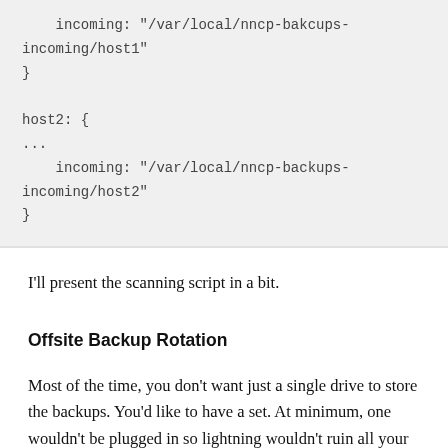[Figure (other): Code block showing NNCP configuration snippet with host2 incoming directory path]
I'll present the scanning script in a bit.
Offsite Backup Rotation
Most of the time, you don't want just a single drive to store the backups. You'd like to have a set. At minimum, one wouldn't be plugged in so lightning wouldn't ruin all your backups. But maybe you'd store a second drive at some other location you have access to (friend's house, bank box,